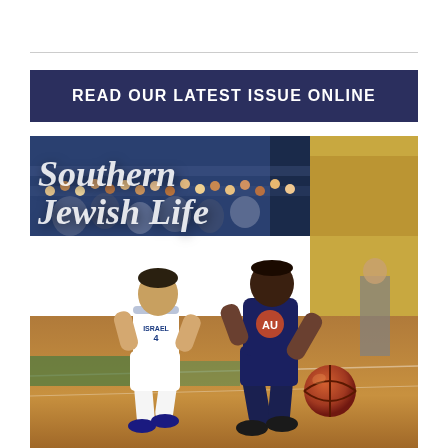READ OUR LATEST ISSUE ONLINE
[Figure (photo): Southern Jewish Life magazine cover featuring two basketball players on a court — one in a white Israel jersey and one in a dark Auburn jersey dribbling a basketball, with a crowded arena in the background. Large italic white text reads 'Southern Jewish Life' across the top of the image.]